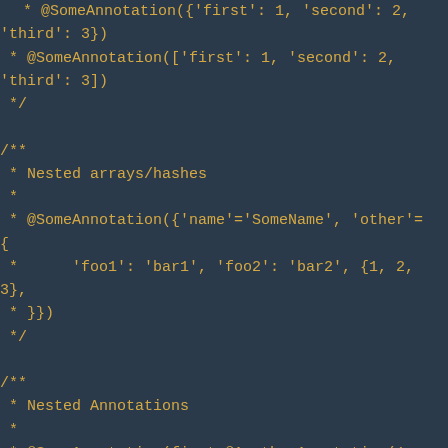* @SomeAnnotation({'first': 1, 'second': 2, 'third': 3})
 * @SomeAnnotation(['first': 1, 'second': 2, 'third': 3])
 */

/**
 * Nested arrays/hashes
 *
 * @SomeAnnotation({'name'='SomeName', 'other'={
 *      'foo1': 'bar1', 'foo2': 'bar2', {1, 2, 3},
 * }})
 */

/**
 * Nested Annotations
 *
 * @SomeAnnotation(first=@AnotherAnnotation(1, 2, 3))